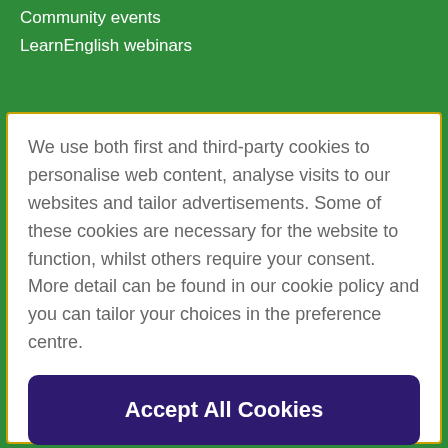Community events
LearnEnglish webinars
We use both first and third-party cookies to personalise web content, analyse visits to our websites and tailor advertisements. Some of these cookies are necessary for the website to function, whilst others require your consent. More detail can be found in our cookie policy and you can tailor your choices in the preference centre.
Accept All Cookies
Cookies Settings